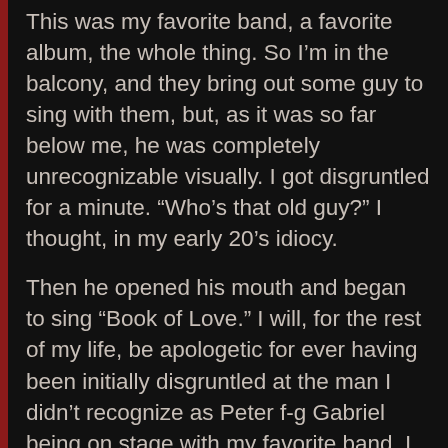This was my favorite band, a favorite album, the whole thing. So I'm in the balcony, and they bring out some guy to sing with them, but, as it was so far below me, he was completely unrecognizable visually. I got disgruntled for a minute. “Who’s that old guy?” I thought, in my early 20’s idiocy.
Then he opened his mouth and began to sing “Book of Love.” I will, for the rest of my life, be apologetic for ever having been initially disgruntled at the man I didn’t recognize as Peter f-g Gabriel being on stage with my favorite band. I nearly fell over the balcony and died that night. No